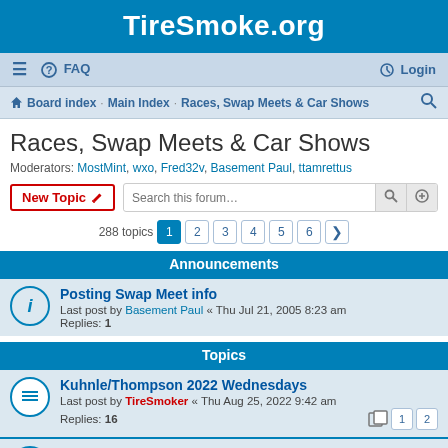TireSmoke.org
≡  FAQ   Login
Board index · Main Index · Races, Swap Meets & Car Shows
Races, Swap Meets & Car Shows
Moderators: MostMint, wxo, Fred32v, Basement Paul, ttamrettus
New Topic  Search this forum…
288 topics  1 2 3 4 5 6 >
Announcements
Posting Swap Meet info
Last post by Basement Paul « Thu Jul 21, 2005 8:23 am
Replies: 1
Topics
Kuhnle/Thompson 2022 Wednesdays
Last post by TireSmoker « Thu Aug 25, 2022 9:42 am
Replies: 16
Fall Carlisle 2022
Last post by Fred32v « Wed Aug 17, 2022 4:08 pm
Replies: 6